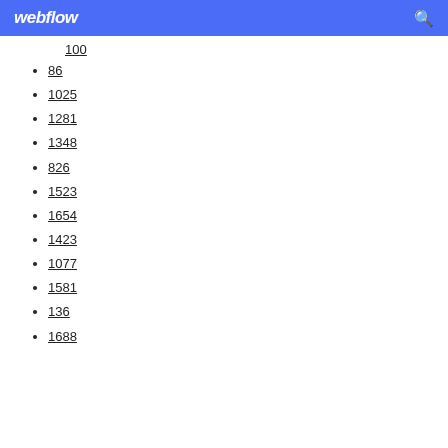webflow
100
86
1025
1281
1348
826
1523
1654
1423
1077
1581
136
1688